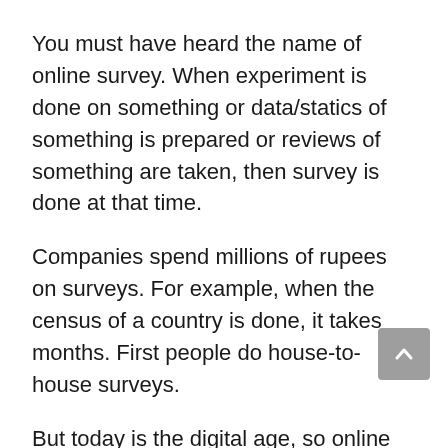You must have heard the name of online survey. When experiment is done on something or data/statics of something is prepared or reviews of something are taken, then survey is done at that time.
Companies spend millions of rupees on surveys. For example, when the census of a country is done, it takes months. First people do house-to-house surveys.
But today is the digital age, so online survey is getting more attention. Because online survey gets done in cheap price. And it also takes very less time.
If you complete the survey of any company,